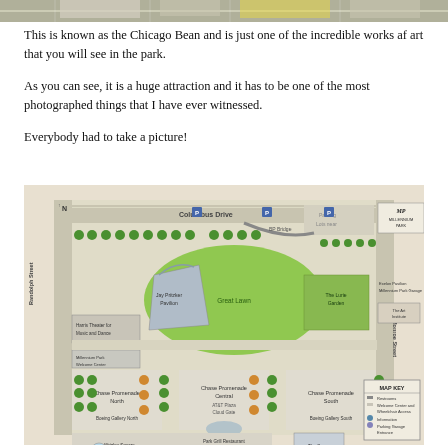[Figure (photo): Top portion of a photo showing parked vehicles/trucks on pavement, cropped at top of page]
This is known as the Chicago Bean and is just one of the incredible works af art that you will see in the park.
As you can see, it is a huge attraction and it has to be one of the most photographed things that I have ever witnessed.
Everybody had to take a picture!
[Figure (map): Map of Millennium Park in Chicago showing layout of attractions including Jay Pritzker Pavilion, Great Lawn, Chase Promenade North/Central/South, AT&T Plaza Cloud Gate, BP Bridge, The Lurie Garden, Harris Theater for Music and Dance, Exelon Pavilion, McCormick Tribune Plaza and Ice Rink, Park Grill Restaurant, Boeing Gallery North and South, and map key. Streets labeled include Columbus Drive, Randolph Street, and Monroe Street.]